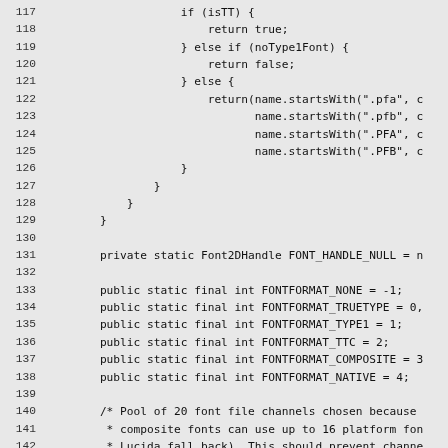Code listing lines 117-146, Java source code showing font format constants and a method with conditional logic for font type detection.